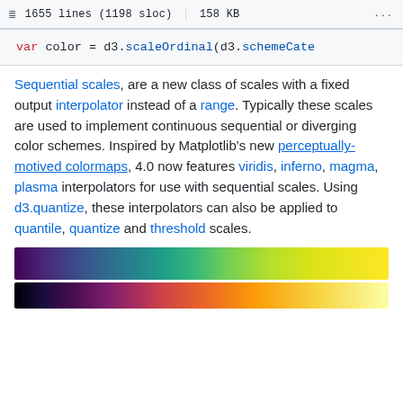1655 lines (1198 sloc)  |  158 KB  ...
[Figure (screenshot): Code snippet: var color = d3.scaleOrdinal(d3.schemeCate]
Sequential scales, are a new class of scales with a fixed output interpolator instead of a range. Typically these scales are used to implement continuous sequential or diverging color schemes. Inspired by Matplotlib’s new perceptually-motived colormaps, 4.0 now features viridis, inferno, magma, plasma interpolators for use with sequential scales. Using d3.quantize, these interpolators can also be applied to quantile, quantize and threshold scales.
[Figure (infographic): Viridis colormap gradient bar from purple to yellow-green]
[Figure (infographic): Inferno colormap gradient bar from black to pale yellow]